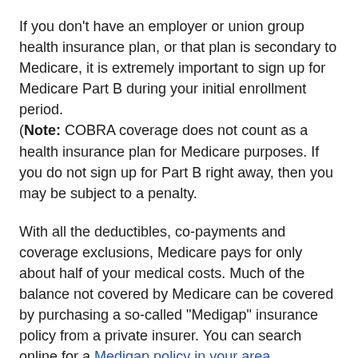If you don't have an employer or union group health insurance plan, or that plan is secondary to Medicare, it is extremely important to sign up for Medicare Part B during your initial enrollment period. (Note: COBRA coverage does not count as a health insurance plan for Medicare purposes. If you do not sign up for Part B right away, then you may be subject to a penalty.
With all the deductibles, co-payments and coverage exclusions, Medicare pays for only about half of your medical costs. Much of the balance not covered by Medicare can be covered by purchasing a so-called “Medigap” insurance policy from a private insurer. You can search online for a Medigap policy in your area.